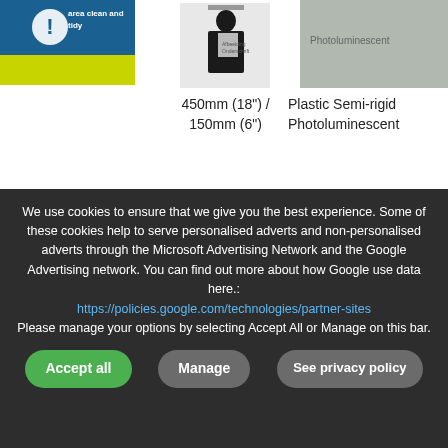[Figure (screenshot): Product image top-left: blue safety sign reading 'area clean and tidy']
450mm (18") / 150mm (6")
Plastic Semi-rigid Photoluminescent
Your basket: 0 Items
[Figure (screenshot): Product image: silhouette person holding small white card sign]
[Figure (screenshot): Product image: photoluminescent sign partially visible]
[Figure (screenshot): Safety sign: Keep your work area, blue circle with exclamation mark]
£ 20.01
+ Add
[Figure (screenshot): Product image center: silhouette person holding card]
[Figure (screenshot): Product image right: coin/disc sign]
We use cookies to ensure that we give you the best experience. Some of these cookies help to serve personalised adverts and non-personalised adverts through the Microsoft Advertising Network and the Google Advertising network. You can find out more about how Google use data here.: https://policies.google.com/technologies/partner-sites Please manage your options by selecting Accept All or Manage on this bar.
Accept all
Manage
See privacy policy